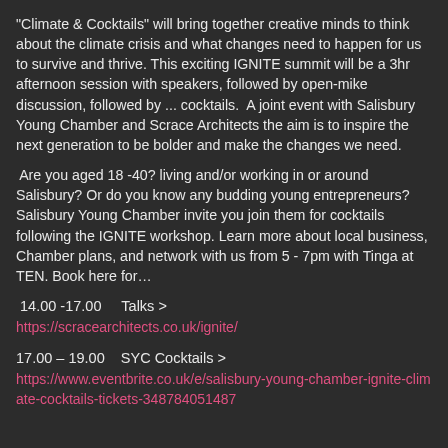"Climate & Cocktails" will bring together creative minds to think about the climate crisis and what changes need to happen for us to survive and thrive. This exciting IGNITE summit will be a 3hr afternoon session with speakers, followed by open-mike discussion, followed by ... cocktails.  A joint event with Salisbury Young Chamber and Scrace Architects the aim is to inspire the next generation to be bolder and make the changes we need.
Are you aged 18 -40? living and/or working in or around Salisbury? Or do you know any budding young entrepreneurs? Salisbury Young Chamber invite you join them for cocktails following the IGNITE workshop. Learn more about local business, Chamber plans, and network with us from 5 - 7pm with Tinga at TEN. Book here for...
14.00 -17.00     Talks >
https://scracearchitects.co.uk/ignite/
17.00 – 19.00    SYC Cocktails >
https://www.eventbrite.co.uk/e/salisbury-young-chamber-ignite-climate-cocktails-tickets-348784051487